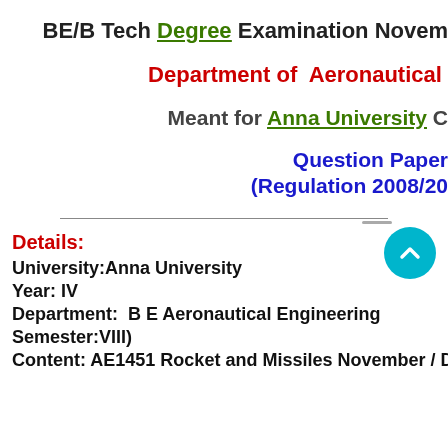BE/B Tech Degree Examination Novem
Department of  Aeronautical
Meant for Anna University C
Question Paper (Regulation 2008/20
Details:
University:Anna University
Year: IV
Department:  B E Aeronautical Engineering
Semester:VIII)
Content: AE1451 Rocket and Missiles November / Dece